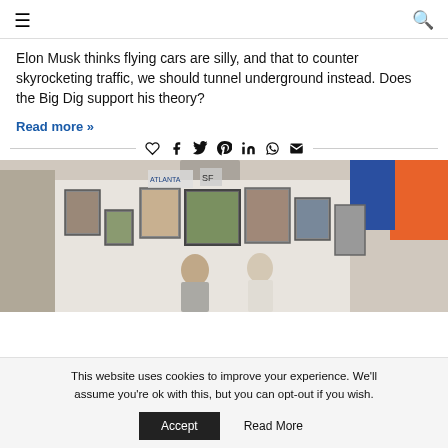≡  🔍
Elon Musk thinks flying cars are silly, and that to counter skyrocketing traffic, we should tunnel underground instead. Does the Big Dig support his theory?
Read more »
[Figure (photo): Interior of what appears to be an art gallery or office space with framed artwork and flags on the walls, two people visible in the space]
This website uses cookies to improve your experience. We'll assume you're ok with this, but you can opt-out if you wish.